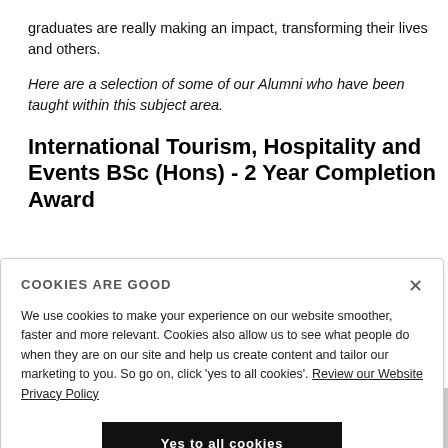graduates are really making an impact, transforming their lives and others.
Here are a selection of some of our Alumni who have been taught within this subject area.
International Tourism, Hospitality and Events BSc (Hons) - 2 Year Completion Award
COOKIES ARE GOOD
We use cookies to make your experience on our website smoother, faster and more relevant. Cookies also allow us to see what people do when they are on our site and help us create content and tailor our marketing to you. So go on, click 'yes to all cookies'. Review our Website Privacy Policy
Yes to all cookies